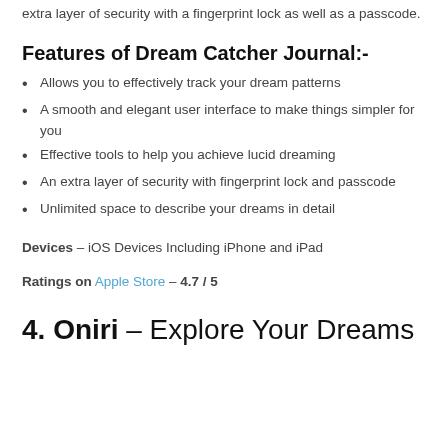extra layer of security with a fingerprint lock as well as a passcode.
Features of Dream Catcher Journal:-
Allows you to effectively track your dream patterns
A smooth and elegant user interface to make things simpler for you
Effective tools to help you achieve lucid dreaming
An extra layer of security with fingerprint lock and passcode
Unlimited space to describe your dreams in detail
Devices – iOS Devices Including iPhone and iPad
Ratings on Apple Store – 4.7 / 5
4. Oniri – Explore Your Dreams